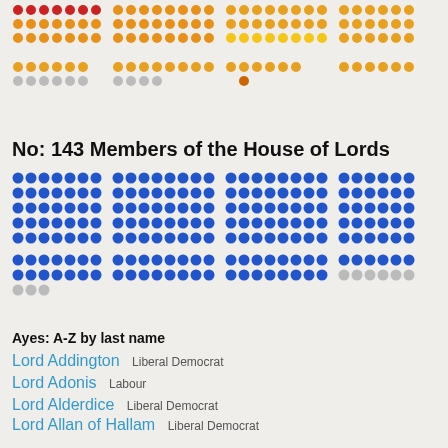[Figure (infographic): Dot matrix showing votes in top section with red, orange, yellow, and gray dots representing different groups]
No: 143 Members of the House of Lords
[Figure (infographic): Dot matrix showing 143 blue dots and some gray dots representing members of the House of Lords]
Ayes: A-Z by last name
Lord Addington  Liberal Democrat
Lord Adonis  Labour
Lord Alderdice  Liberal Democrat
Lord Allan of Hallam  Liberal Democrat
Lord Alli  Labour
Lord Alton of Liverpool  Crossbench